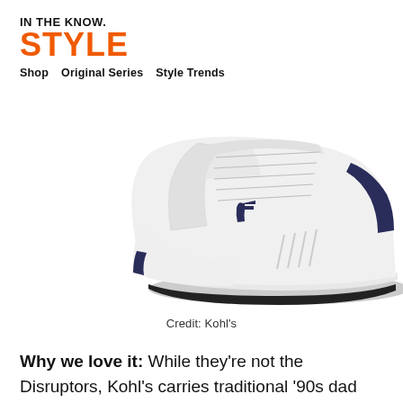IN THE KNOW. STYLE
Shop   Original Series   Style Trends
[Figure (photo): White FILA dad sneaker / athletic shoe with navy accents, shown from a side-top angle against a white background]
Credit: Kohl's
Why we love it: While they're not the Disruptors, Kohl's carries traditional '90s dad shoes from FILA. Over 200 customers have reviewed the sneakers, and the kicks have a 4.3-star rating. One shopper